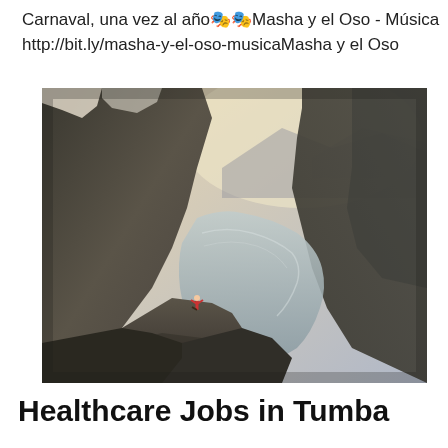Carnaval, una vez al año🎭🎭Masha y el Oso - Música http://bit.ly/masha-y-el-oso-musicaMasha y el Oso
[Figure (photo): A person in a red top standing in a yoga tree pose on a rocky cliff ledge (resembling Trolltunga, Norway), overlooking a long winding fjord/lake surrounded by steep rocky mountains. The sky is bright and hazy in the background.]
Healthcare Jobs in Tumba